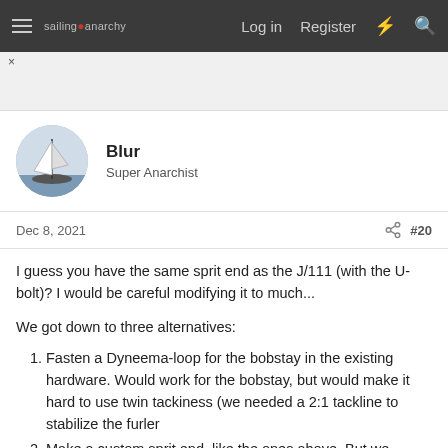sailing anarchy  Log in  Register
Blur
Super Anarchist
Dec 8, 2021  #20
I guess you have the same sprit end as the J/111 (with the U-bolt)? I would be careful modifying it to much...

We got down to three alternatives:
Fasten a Dyneema-loop for the bobstay in the existing hardware. Would work for the bobstay, but would make it hard to use twin tackiness (we needed a 2:1 tackline to stabilize the furler
Make a custom sprit end, like the ones above. But we